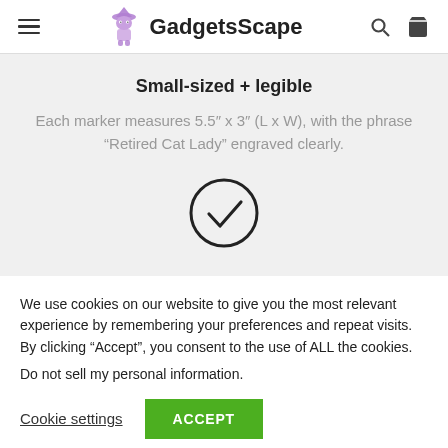GadgetsScape
Small-sized + legible
Each marker measures 5.5″ x 3″ (L x W), with the phrase “Retired Cat Lady” engraved clearly.
[Figure (illustration): Checkmark inside a circle icon]
We use cookies on our website to give you the most relevant experience by remembering your preferences and repeat visits. By clicking “Accept”, you consent to the use of ALL the cookies.
Do not sell my personal information.
Cookie settings   ACCEPT